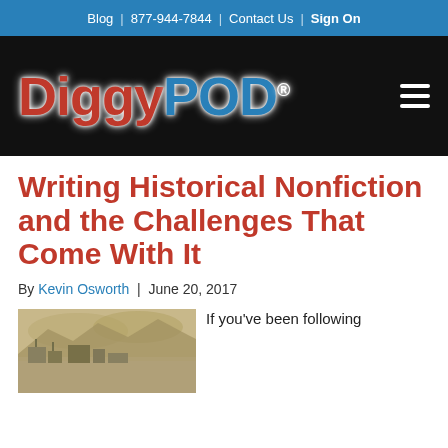Blog | 877-944-7844 | Contact Us | Sign On
[Figure (logo): DiggyPOD logo in red and blue text on black background with hamburger menu icon]
Writing Historical Nonfiction and the Challenges That Come With It
By Kevin Osworth | June 20, 2017
[Figure (photo): Sepia-toned historical photograph of a mountain landscape with structures in the foreground]
If you've been following